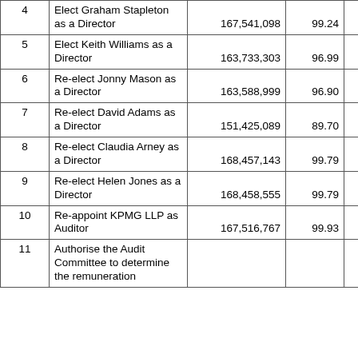|  | Resolution | Votes For | % | Votes Against (truncated) |
| --- | --- | --- | --- | --- |
| 4 | Elect Graham Stapleton as a Director | 167,541,098 | 99.24 | 1,279,24… |
| 5 | Elect Keith Williams as a Director | 163,733,303 | 96.99 | 5,085,67… |
| 6 | Re-elect Jonny Mason as a Director | 163,588,999 | 96.90 | 5,231,46… |
| 7 | Re-elect David Adams as a Director | 151,425,089 | 89.70 | 17,391,14… |
| 8 | Re-elect Claudia Arney as a Director | 168,457,143 | 99.79 | 357,22… |
| 9 | Re-elect Helen Jones as a Director | 168,458,555 | 99.79 | 356,12… |
| 10 | Re-appoint KPMG LLP as Auditor | 167,516,767 | 99.93 | 118,22… |
| 11 | Authorise the Audit Committee to determine the remuneration… |  |  |  |